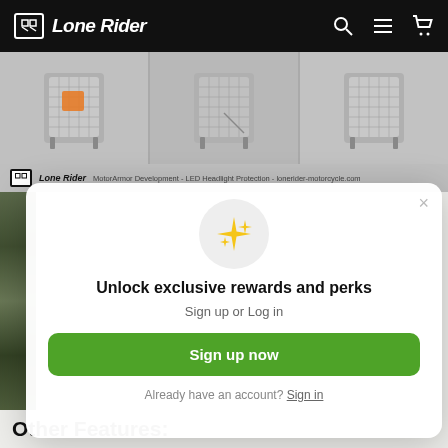Lone Rider
[Figure (screenshot): Product image strip showing three views of LED Headlight Protection motorcycle accessory on grey background with Lone Rider watermark bar]
[Figure (screenshot): Modal popup with sparkle emoji icon, title 'Unlock exclusive rewards and perks', subtitle 'Sign up or Log in', green 'Sign up now' button, and 'Already have an account? Sign in' link]
Unlock exclusive rewards and perks
Sign up or Log in
Sign up now
Already have an account? Sign in
Other Features: